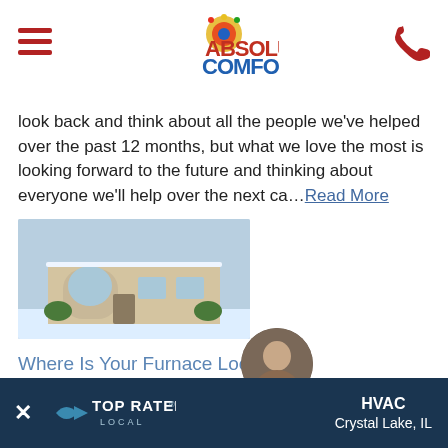Absolute Comfort logo with hamburger menu and phone icon
look back and think about all the people we've helped over the past 12 months, but what we love the most is looking forward to the future and thinking about everyone we'll help over the next ca… Read More
[Figure (photo): House exterior in winter with snow on roof]
Where Is Your Furnace Located?
furnace inspection, furnace installation, furnace repair, heating and cooling, HVAC, HVAC repair
Depending on the size and layout of your home, your furnace could be located in one of a number of places. At Absolute Comfort in Crystal Lake, we know how to take care of any furnace repair issues that your system may be experiencing. By accessing your furnace, we can find out what happens… Re
× TOP RATED LOCAL — HVAC Crystal Lake, IL